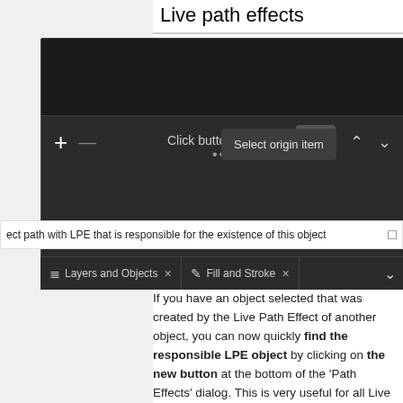Live path effects
[Figure (screenshot): Screenshot of Inkscape's Path Effects dialog showing a dark UI with toolbar buttons (+, -, an origin button with cursor hovering), a tooltip popup saying 'Select origin item', partially visible text 'Click button to add...', and tabs for 'Layers and Objects' and 'Fill and Stroke' at the bottom.]
ect path with LPE that is responsible for the existence of this object
If you have an object selected that was created by the Live Path Effect of another object, you can now quickly find the responsible LPE object by clicking on the new button at the bottom of the 'Path Effects' dialog. This is very useful for all Live Path effects that create dependent objects which can be selected independently, like the new